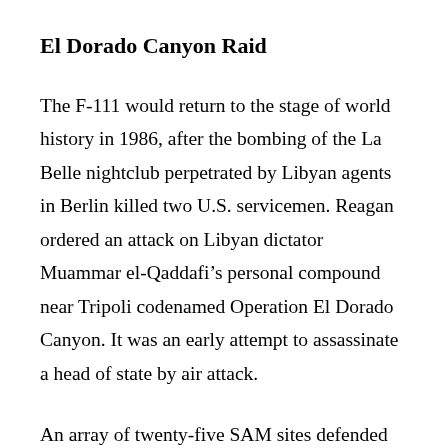El Dorado Canyon Raid
The F-111 would return to the stage of world history in 1986, after the bombing of the La Belle nightclub perpetrated by Libyan agents in Berlin killed two U.S. servicemen. Reagan ordered an attack on Libyan dictator Muammar el-Qaddafi’s personal compound near Tripoli codenamed Operation El Dorado Canyon. It was an early attempt to assassinate a head of state by air attack.
An array of twenty-five SAM sites defended Tripoli. A squadron of eighteen F-111Fs carried out the main attack, joined by four EF-111